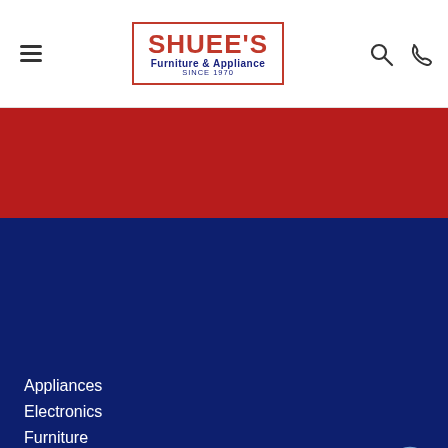Shuee's Furniture & Appliance — site header with hamburger menu, logo, search and phone icons
[Figure (logo): Shuee's Furniture & Appliance logo in a red-bordered box with red brand name and navy subtitle 'Furniture & Appliance SINCE 1970']
[Figure (illustration): Red hero banner section]
Shuee's Furniture & Appliance
Appliances
Electronics
Furniture
Mattresses